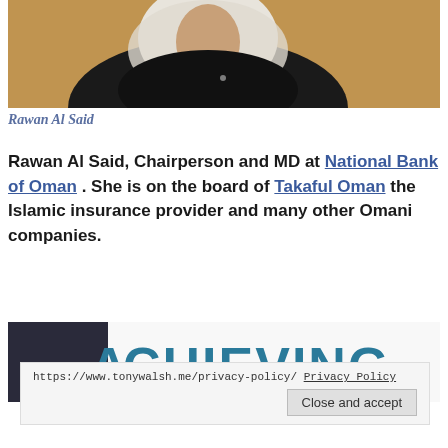[Figure (photo): Photo of Rawan Al Said, a woman wearing a white hijab and dark clothing, seated in front of a wooden background]
Rawan Al Said
Rawan Al Said, Chairperson and MD at National Bank of Oman . She is on the board of Takaful Oman the Islamic insurance provider and many other Omani companies.
[Figure (photo): Partial photo showing a banner with the text 'ACHIEVING' partially visible, along with a person and teal/blue text]
https://www.tonywalsh.me/privacy-policy/ Privacy Policy
Close and accept